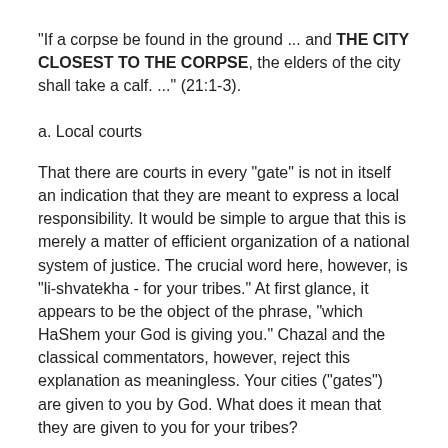"If a corpse be found in the ground ... and THE CITY CLOSEST TO THE CORPSE, the elders of the city shall take a calf. ..." (21:1-3).
a. Local courts
That there are courts in every "gate" is not in itself an indication that they are meant to express a local responsibility. It would be simple to argue that this is merely a matter of efficient organization of a national system of justice. The crucial word here, however, is "li-shvatekha - for your tribes." At first glance, it appears to be the object of the phrase, "which HaShem your God is giving you." Chazal and the classical commentators, however, reject this explanation as meaningless. Your cities ("gates") are given to you by God. What does it mean that they are given to you for your tribes?